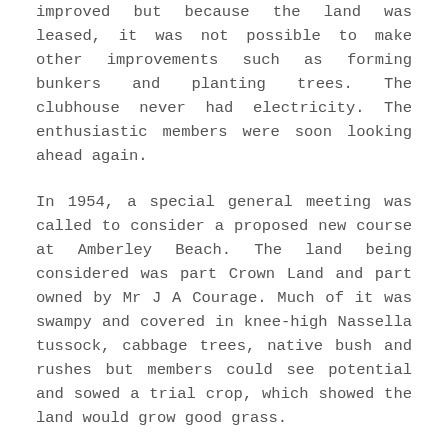improved but because the land was leased, it was not possible to make other improvements such as forming bunkers and planting trees. The clubhouse never had electricity. The enthusiastic members were soon looking ahead again.
In 1954, a special general meeting was called to consider a proposed new course at Amberley Beach. The land being considered was part Crown Land and part owned by Mr J A Courage. Much of it was swampy and covered in knee-high Nassella tussock, cabbage trees, native bush and rushes but members could see potential and sowed a trial crop, which showed the land would grow good grass.
The Amberley Beach Domain Board had jurisdiction over the Crown Land and supported the venture and Mr Courage